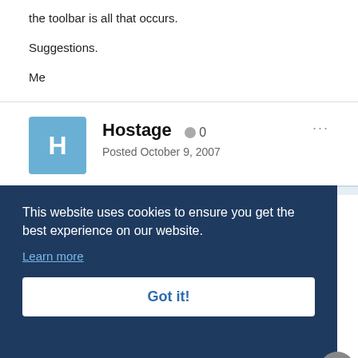the toolbar is all that occurs.
Suggestions.
Me
Hostage   0
Posted October 9, 2007
This website uses cookies to ensure you get the best experience on our website.
Learn more
Got it!
database. You post is the closest I have seen to what I want to